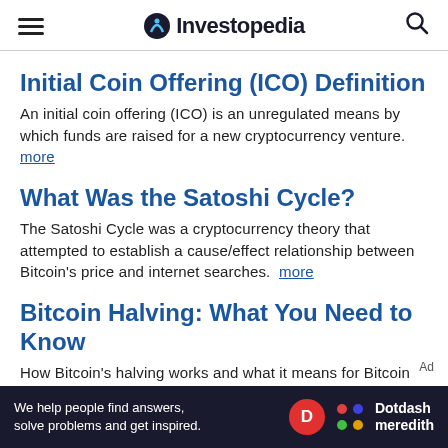Investopedia
Initial Coin Offering (ICO) Definition
An initial coin offering (ICO) is an unregulated means by which funds are raised for a new cryptocurrency venture. more
What Was the Satoshi Cycle?
The Satoshi Cycle was a cryptocurrency theory that attempted to establish a cause/effect relationship between Bitcoin's price and internet searches. more
Bitcoin Halving: What You Need to Know
How Bitcoin's halving works and what it means for Bitcoin users. more
What is Bitcoin? How to Mine, Buy, and
[Figure (screenshot): Dotdash Meredith advertisement banner with text 'We help people find answers, solve problems and get inspired.']